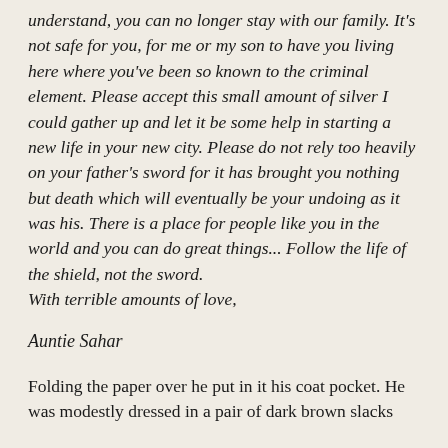understand, you can no longer stay with our family. It's not safe for you, for me or my son to have you living here where you've been so known to the criminal element. Please accept this small amount of silver I could gather up and let it be some help in starting a new life in your new city. Please do not rely too heavily on your father's sword for it has brought you nothing but death which will eventually be your undoing as it was his. There is a place for people like you in the world and you can do great things... Follow the life of the shield, not the sword.
With terrible amounts of love,
Auntie Sahar
Folding the paper over he put in it his coat pocket. He was modestly dressed in a pair of dark brown slacks